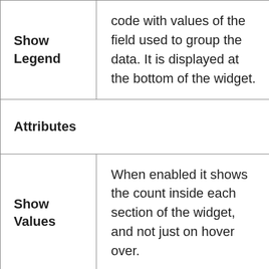| Show Legend | code with values of the field used to group the data. It is displayed at the bottom of the widget. |
| Attributes |  |
| Show Values | When enabled it shows the count inside each section of the widget, and not just on hover over. |
| Value | Choose between below or above to place the value in the desired location or select auto and the |